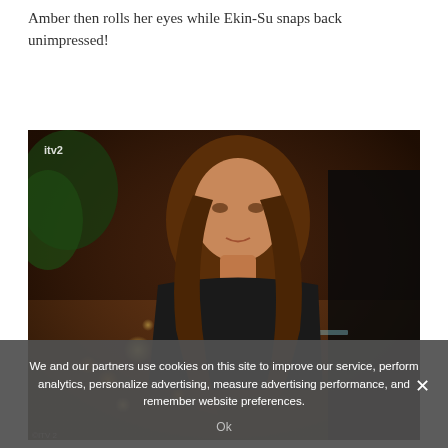Amber then rolls her eyes while Ekin-Su snaps back unimpressed!
[Figure (photo): TV screenshot from ITV2 showing a woman with long brown hair sitting and talking, with bokeh lights and green foliage in the background, during what appears to be a Love Island episode.]
We and our partners use cookies on this site to improve our service, perform analytics, personalize advertising, measure advertising performance, and remember website preferences.
Ok